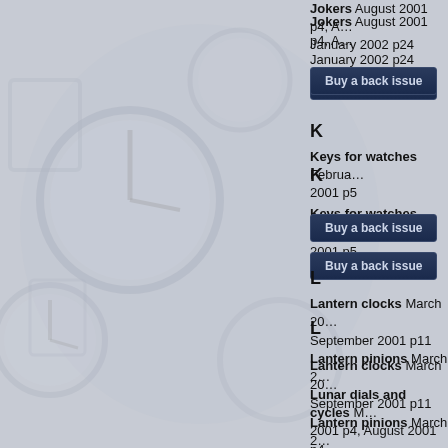Jokers August 2001 p4, January 2002 p24
[Figure (other): Buy a back issue button]
K
Keys for watches February 2001 p5
[Figure (other): Buy a back issue button]
L
Lantern clocks March 2001, September 2001 p11
Lantern pinions March 2...
Lunar dials and cycles M... 2001 p4, August 2001 p4, November 2001 p4, Janu...
[Figure (other): Buy a back issue button]
M